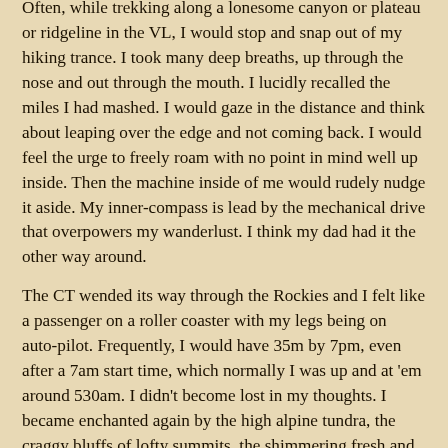Often, while trekking along a lonesome canyon or plateau or ridgeline in the VL, I would stop and snap out of my hiking trance. I took many deep breaths, up through the nose and out through the mouth. I lucidly recalled the miles I had mashed. I would gaze in the distance and think about leaping over the edge and not coming back. I would feel the urge to freely roam with no point in mind well up inside. Then the machine inside of me would rudely nudge it aside. My inner-compass is lead by the mechanical drive that overpowers my wanderlust. I think my dad had it the other way around.
The CT wended its way through the Rockies and I felt like a passenger on a roller coaster with my legs being on auto-pilot. Frequently, I would have 35m by 7pm, even after a 7am start time, which normally I was up and at 'em around 530am. I didn't become lost in my thoughts. I became enchanted again by the high alpine tundra, the craggy bluffs of lofty summits, the shimmering fresh and cold water, the supple and colorful wildflowers, and the twinkling and quaking of massive aspen groves.
I did not plan and hike the VL to figure out how alike and different I am to that of a man I really do not know. And I didn't do it to